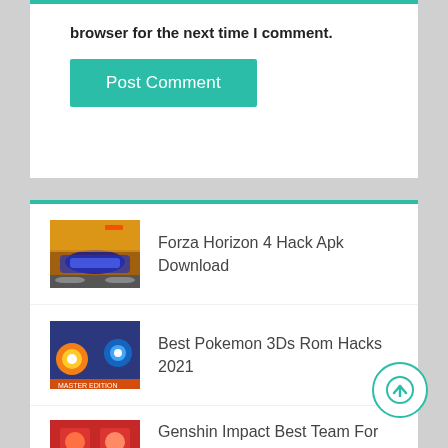browser for the next time I comment.
Post Comment
Forza Horizon 4 Hack Apk Download
Best Pokemon 3Ds Rom Hacks 2021
Genshin Impact Best Team For